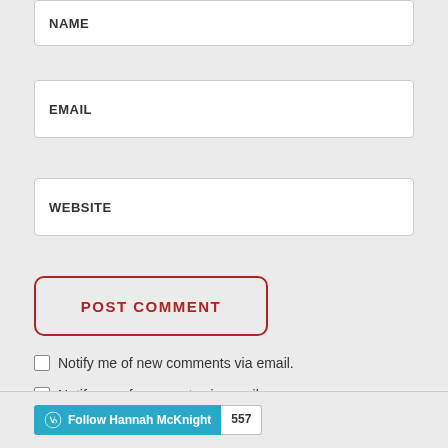NAME
EMAIL
WEBSITE
POST COMMENT
Notify me of new comments via email.
Notify me of new posts via email.
Follow Hannah McKnight 557